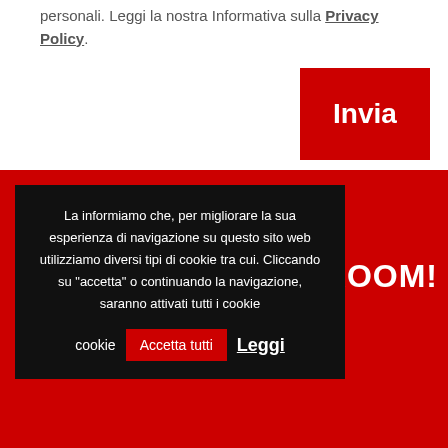personali. Leggi la nostra Informativa sulla Privacy Policy
[Figure (screenshot): Red 'Invia' button]
ROOM!
La informiamo che, per migliorare la sua esperienza di navigazione su questo sito web utilizziamo diversi tipi di cookie tra cui. Cliccando su "accetta" o continuando la navigazione, saranno attivati tutti i cookie   Accetta tutti   Leggi